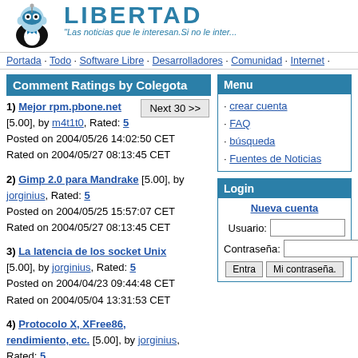[Figure (logo): Libertad.fm mascot illustration - cartoon character in tuxedo with antenna]
LIBERTAD · "Las noticias que le interesan. Si no le inter..."
Portada · Todo · Software Libre · Desarrolladores · Comunidad · Internet ·
Comment Ratings by Colegota
Next 30 >>
1) Mejor rpm.pbone.net [5.00], by m4t1t0, Rated: 5
Posted on 2004/05/26 14:02:50 CET
Rated on 2004/05/27 08:13:45 CET
2) Gimp 2.0 para Mandrake [5.00], by jorginius, Rated: 5
Posted on 2004/05/25 15:57:07 CET
Rated on 2004/05/27 08:13:45 CET
3) La latencia de los socket Unix [5.00], by jorginius, Rated: 5
Posted on 2004/04/23 09:44:48 CET
Rated on 2004/05/04 13:31:53 CET
4) Protocolo X, XFree86, rendimiento, etc. [5.00], by jorginius, Rated: 5
Posted on 2004/04/23 01:01:28 CET
Rated on 2004/05/04 13:31:53 CET
Menu
· crear cuenta
· FAQ
· búsqueda
· Fuentes de Noticias
Login
Nueva cuenta
Usuario:
Contraseña:
Entra   Mi contraseña.